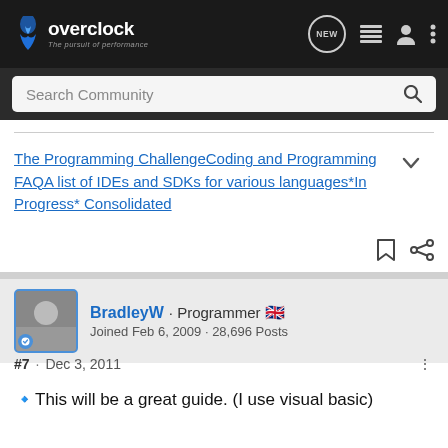[Figure (logo): Overclock.net logo with flame icon and tagline 'The pursuit of performance' on dark navbar]
Search Community
The Programming ChallengeCoding and Programming FAQA list of IDEs and SDKs for various languages*In Progress* Consolidated
BradleyW · Programmer 🇬🇧
Joined Feb 6, 2009 · 28,696 Posts
#7 · Dec 3, 2011
🔷This will be a great guide. (I use visual basic)